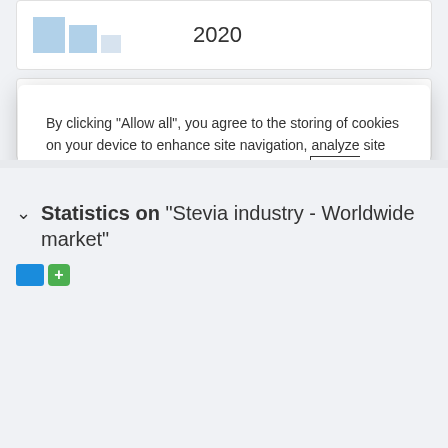[Figure (screenshot): Partial view of a bar chart card showing year 2020 with blue bar chart icon]
[Figure (screenshot): Partial view of a statistics card with blue lines icon and green plus button, showing text 'Most used brands of sugar substitutes in']
By clicking “Allow all”, you agree to the storing of cookies on your device to enhance site navigation, analyze site usage, and assist in our marketing efforts. Privacy Statement
Allow all
Cookie Consent Manager
Statistics on “Stevia industry - Worldwide market”